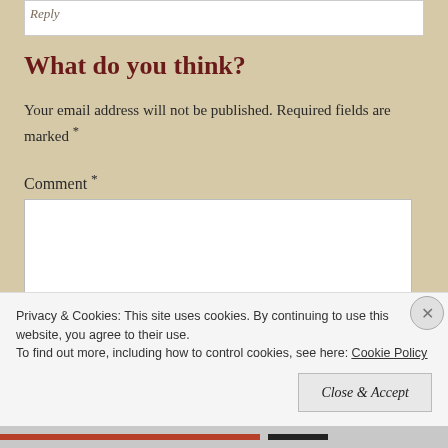Reply
What do you think?
Your email address will not be published. Required fields are marked *
Comment *
Privacy & Cookies: This site uses cookies. By continuing to use this website, you agree to their use.
To find out more, including how to control cookies, see here: Cookie Policy
Close & Accept